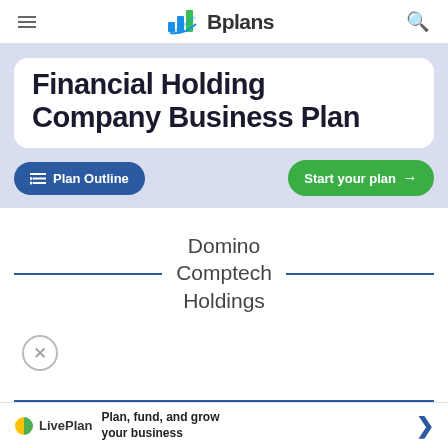Bplans
Financial Holding Company Business Plan
Plan Outline
Start your plan →
Domino Comptech Holdings
Plan, fund, and grow your business
Exec